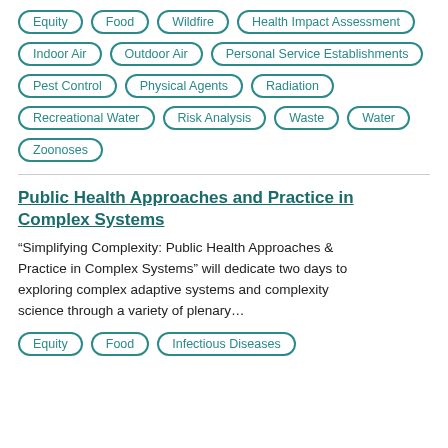Equity | Food | Wildfire | Health Impact Assessment
Indoor Air | Outdoor Air | Personal Service Establishments
Pest Control | Physical Agents | Radiation
Recreational Water | Risk Analysis | Waste | Water
Zoonoses
Public Health Approaches and Practice in Complex Systems
“Simplifying Complexity: Public Health Approaches & Practice in Complex Systems” will dedicate two days to exploring complex adaptive systems and complexity science through a variety of plenary…
Equity | Food | Infectious Diseases